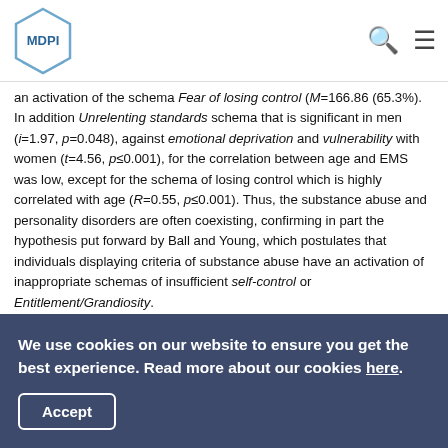MDPI
an activation of the schema Fear of losing control (M=166.86 (65.3%). In addition Unrelenting standards schema that is significant in men (i=1.97, p=0.048), against emotional deprivation and vulnerability with women (t=4.56, p≤0.001), for the correlation between age and EMS was low, except for the schema of losing control which is highly correlated with age (R=0.55, p≤0.001). Thus, the substance abuse and personality disorders are often coexisting, confirming in part the hypothesis put forward by Ball and Young, which postulates that individuals displaying criteria of substance abuse have an activation of inappropriate schemas of insufficient self-control or Entitlement/Grandiosity.
Keywords: Early Maladaptive Schema; addiction; methadone; heroin; Morocco
We use cookies on our website to ensure you get the best experience. Read more about our cookies here.